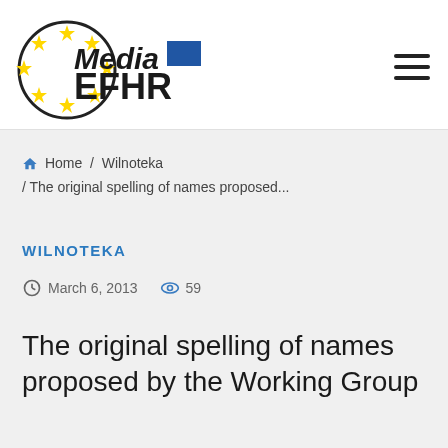[Figure (logo): Media EFHR logo with circular EU stars and blue square]
Media EFHR — hamburger menu icon
Home / Wilnoteka / The original spelling of names proposed...
WILNOTEKA
March 6, 2013   59
The original spelling of names proposed by the Working Group